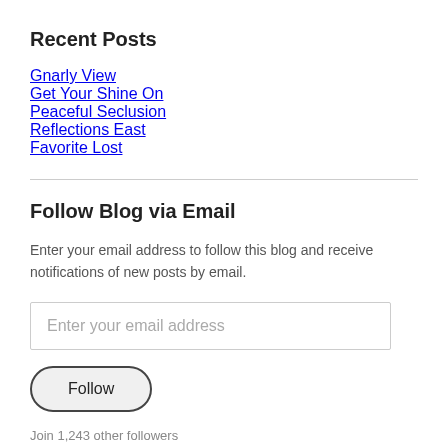Recent Posts
Gnarly View
Get Your Shine On
Peaceful Seclusion
Reflections East
Favorite Lost
Follow Blog via Email
Enter your email address to follow this blog and receive notifications of new posts by email.
Enter your email address
Follow
Join 1,243 other followers